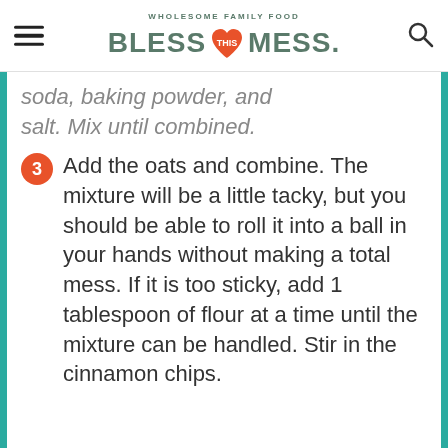WHOLESOME FAMILY FOOD — BLESS THIS MESS.
soda, baking powder, and salt. Mix until combined.
3 Add the oats and combine. The mixture will be a little tacky, but you should be able to roll it into a ball in your hands without making a total mess. If it is too sticky, add 1 tablespoon of flour at a time until the mixture can be handled. Stir in the cinnamon chips.